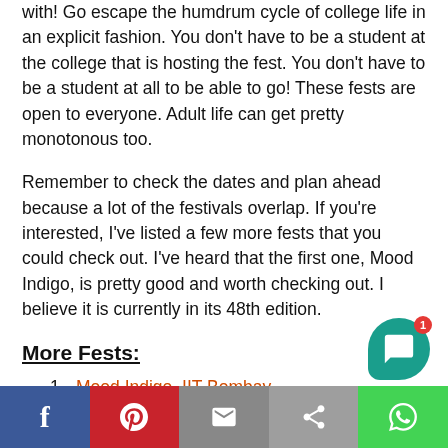with! Go escape the humdrum cycle of college life in an explicit fashion. You don't have to be a student at the college that is hosting the fest. You don't have to be a student at all to be able to go! These fests are open to everyone. Adult life can get pretty monotonous too.
Remember to check the dates and plan ahead because a lot of the festivals overlap. If you're interested, I've listed a few more fests that you could check out. I've heard that the first one, Mood Indigo, is pretty good and worth checking out. I believe it is currently in its 48th edition.
More Fests:
1. Mood Indigo, IIT Bombay
2. Rendevous, IIT Delhi